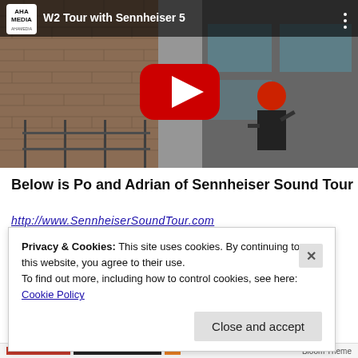[Figure (screenshot): YouTube video thumbnail showing a construction worker in red hard hat working on a building exterior with brick wall and scaffolding. Video title: W2 Tour with Sennheiser 5. AHA Media logo visible in top-left corner. Large red YouTube play button in center.]
Below is Po and Adrian of Sennheiser Sound Tour
http://www.SennheiserSoundTour.com
Privacy & Cookies: This site uses cookies. By continuing to use this website, you agree to their use.
To find out more, including how to control cookies, see here: Cookie Policy
Close and accept